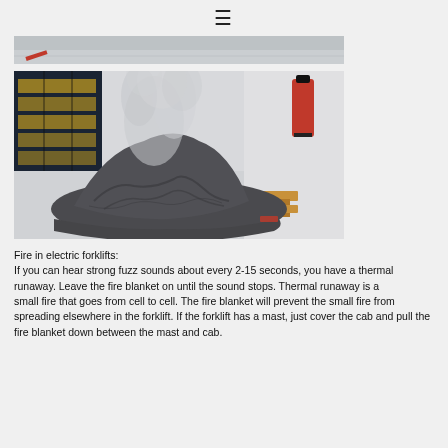☰
[Figure (photo): Top strip image showing a grey surface scene with a small red object, partial view of a fire blanket scenario]
[Figure (photo): Warehouse scene showing a dark grey fire blanket covering an object with smoke rising above it. A red fire extinguisher is visible on the wall to the right, and wooden pallets are on the floor. Dark shelving with boxes is visible in the background.]
Fire in electric forklifts:
If you can hear strong fuzz sounds about every 2-15 seconds, you have a thermal runaway. Leave the fire blanket on until the sound stops. Thermal runaway is a small fire that goes from cell to cell. The fire blanket will prevent the small fire from spreading elsewhere in the forklift. If the forklift has a mast, just cover the cab and pull the fire blanket down between the mast and cab.